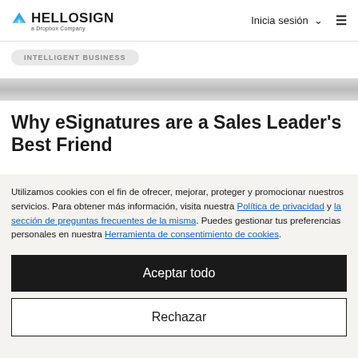HelloSign — a Dropbox Company | Inicia sesión
INTELLIGENT BUSINESS
Why eSignatures are a Sales Leader's Best Friend
Utilizamos cookies con el fin de ofrecer, mejorar, proteger y promocionar nuestros servicios. Para obtener más información, visita nuestra Política de privacidad y la sección de preguntas frecuentes de la misma. Puedes gestionar tus preferencias personales en nuestra Herramienta de consentimiento de cookies.
Aceptar todo
Rechazar